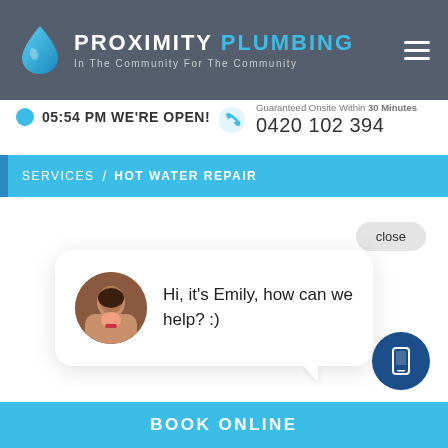[Figure (logo): Proximity Plumbing logo with water drop icon, white and blue text on dark grey background, hamburger menu icon top right]
05:54 PM WE'RE OPEN!
Guaranteed Onsite Within 30 Minutes
0420 102 394
SERVICES / HOT WATER REPAIR
close
Hi, it's Emily, how can we help? :)
BOOK ONLINE